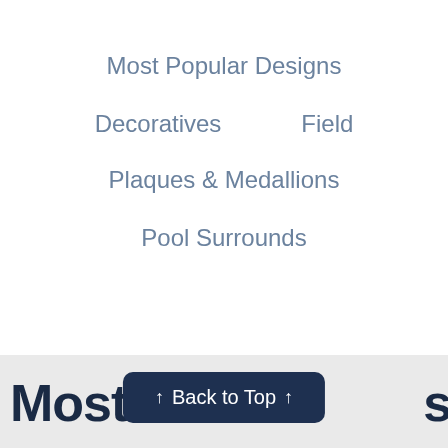Most Popular Designs
Decoratives
Field
Plaques & Medallions
Pool Surrounds
Most  signs
↑ Back to Top ↑